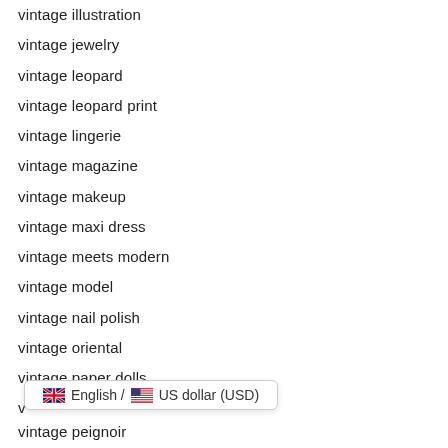vintage illustration
vintage jewelry
vintage leopard
vintage leopard print
vintage lingerie
vintage magazine
vintage makeup
vintage maxi dress
vintage meets modern
vintage model
vintage nail polish
vintage oriental
vintage paper dolls
[Figure (screenshot): Tooltip overlay showing English / US dollar (USD) with UK and US flag icons]
vintage peignoir